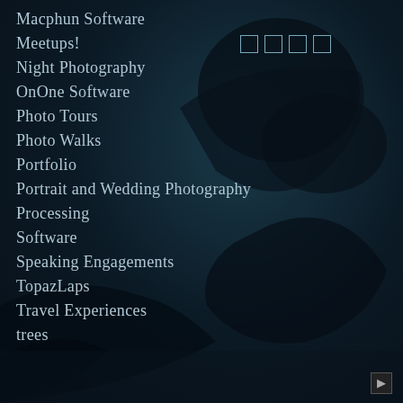Macphun Software
Meetups!
Night Photography
OnOne Software
Photo Tours
Photo Walks
Portfolio
Portrait and Wedding Photography
Processing
Software
Speaking Engagements
TopazLaps
Travel Experiences
trees